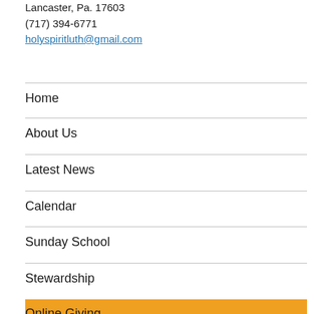Lancaster, Pa. 17603
(717) 394-6771
holyspiritluth@gmail.com
Home
About Us
Latest News
Calendar
Sunday School
Stewardship
Online Giving